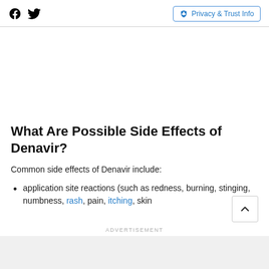Facebook Twitter | Privacy & Trust Info
What Are Possible Side Effects of Denavir?
Common side effects of Denavir include:
application site reactions (such as redness, burning, stinging, numbness, rash, pain, itching, skin